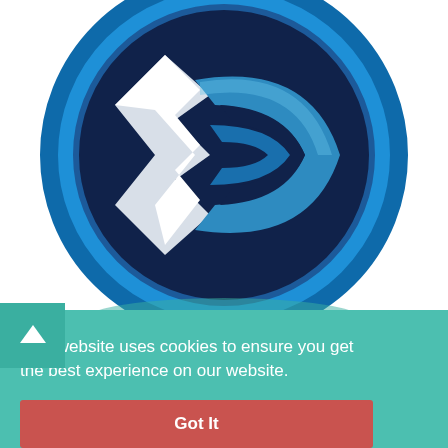[Figure (logo): A circular logo with dark navy/blue background featuring a stylized 'EC' or double-C geometric shape in white and light blue with a 3D metallic effect, surrounded by a bright blue circular border.]
This website uses cookies to ensure you get the best experience on our website.
Got It